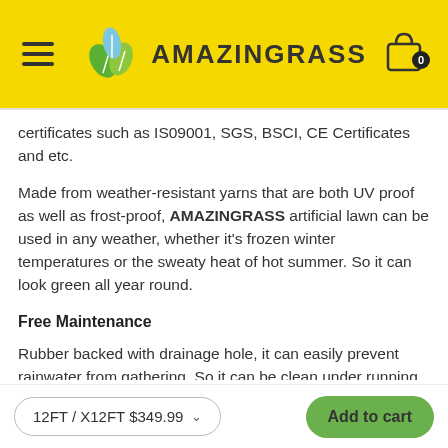AMAZINGRASS
certificates such as IS09001, SGS, BSCI, CE Certificates and etc.
Made from weather-resistant yarns that are both UV proof as well as frost-proof, AMAZINGRASS artificial lawn can be used in any weather, whether it’s frozen winter temperatures or the sweaty heat of hot summer. So it can look green all year round.
Free Maintenance
Rubber backed with drainage hole, it can easily prevent rainwater from gathering. So it can be clean under running water and it will be ready to use again as a
12FT / X12FT $349.99
Add to cart